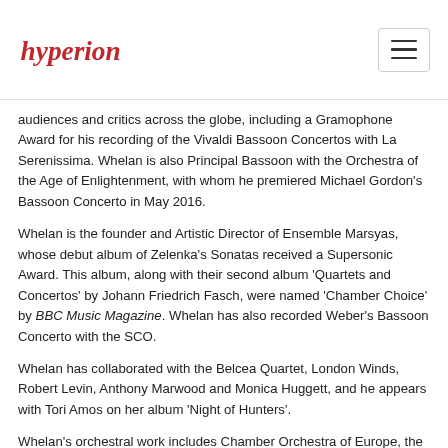hyperion (logo)
audiences and critics across the globe, including a Gramophone Award for his recording of the Vivaldi Bassoon Concertos with La Serenissima. Whelan is also Principal Bassoon with the Orchestra of the Age of Enlightenment, with whom he premiered Michael Gordon's Bassoon Concerto in May 2016.
Whelan is the founder and Artistic Director of Ensemble Marsyas, whose debut album of Zelenka's Sonatas received a Supersonic Award. This album, along with their second album 'Quartets and Concertos' by Johann Friedrich Fasch, were named 'Chamber Choice' by BBC Music Magazine. Whelan has also recorded Weber's Bassoon Concerto with the SCO.
Whelan has collaborated with the Belcea Quartet, London Winds, Robert Levin, Anthony Marwood and Monica Huggett, and he appears with Tori Amos on her album 'Night of Hunters'.
Whelan's orchestral work includes Chamber Orchestra of Europe, the Orchestra of the Age of Enlightenment (Sir Simon Rattle), London Symphony Orchestra, Australian Chamber Orchestra, the English Baroque Soloists (Sir John Eliot Gardiner), Mahler Chamber Orchestra and Les Musiciens du Louvre.